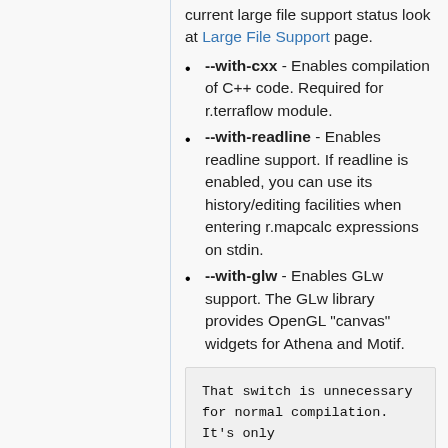current large file support status look at Large File Support page.
--with-cxx - Enables compilation of C++ code. Required for r.terraflow module.
--with-readline - Enables readline support. If readline is enabled, you can use its history/editing facilities when entering r.mapcalc expressions on stdin.
--with-glw - Enables GLw support. The GLw library provides OpenGL "canvas" widgets for Athena and Motif.
That switch is unnecessary for normal compilation. It's only required for r3.showdspf, which isn't normally built; if you